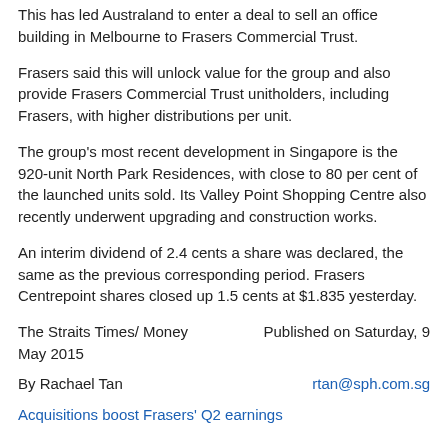This has led Australand to enter a deal to sell an office building in Melbourne to Frasers Commercial Trust.
Frasers said this will unlock value for the group and also provide Frasers Commercial Trust unitholders, including Frasers, with higher distributions per unit.
The group's most recent development in Singapore is the 920-unit North Park Residences, with close to 80 per cent of the launched units sold. Its Valley Point Shopping Centre also recently underwent upgrading and construction works.
An interim dividend of 2.4 cents a share was declared, the same as the previous corresponding period. Frasers Centrepoint shares closed up 1.5 cents at $1.835 yesterday.
The Straits Times/ Money
May 2015
Published on Saturday, 9
By Rachael Tan
rtan@sph.com.sg
Acquisitions boost Frasers' Q2 earnings